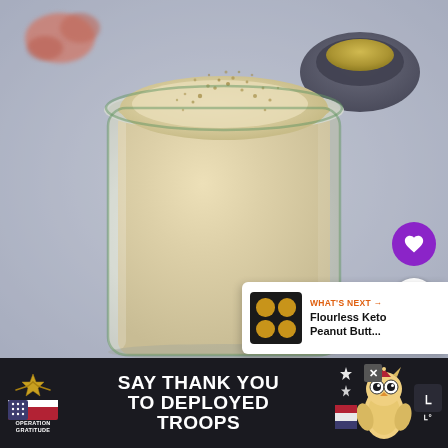[Figure (photo): A glass jar filled with a creamy beige/white smoothie or panna cotta-like drink, with small golden bubbles on the foam surface. Background shows a dark bowl with yellow powder (possibly protein or nutritional yeast) and pink/red pretzels, on a light blue-gray surface. A purple heart button and white share button are overlaid on the right. A 'What's Next' card shows a thumbnail of cookies and text 'Flourless Keto Peanut Butt...'.]
[Figure (infographic): Advertisement banner at the bottom. Operation Gratitude logo on the left (eagle/star with American flag colors). Text reads 'SAY THANK YOU TO DEPLOYED TROOPS' in large white bold font. An owl mascot character on the right side. An X close button. A speaker/audio icon on the far right.]